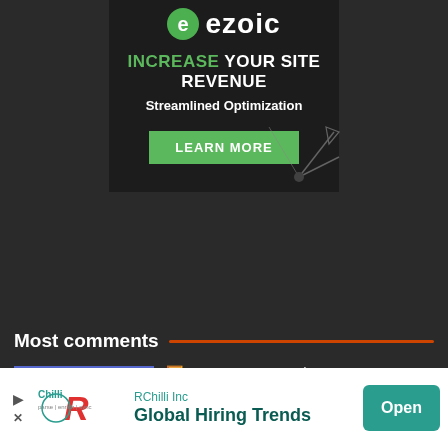[Figure (screenshot): Ezoic advertisement banner with logo, headline 'INCREASE YOUR SITE REVENUE', subtext 'Streamlined Optimization', green 'LEARN MORE' button, and satellite graphic on dark background]
Most comments
[Figure (screenshot): Thumbnail screenshot of Microsoft Teams background customization interface]
🖼️ How to customize your background with your own image in Microsoft Teams?
[Figure (screenshot): RChilli Inc advertisement bar at bottom: 'Global Hiring Trends' with Open button]
RChilli Inc
Global Hiring Trends
Open